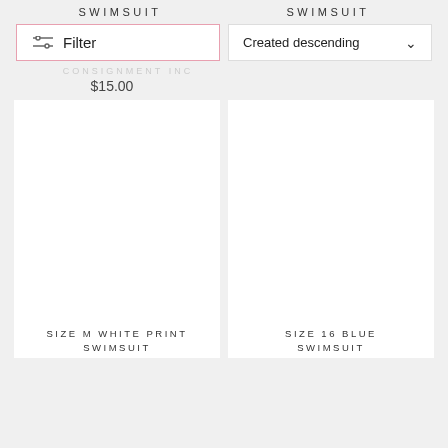SWIMSUIT
SWIMSUIT
Filter
Created descending
CONSIGNMENT INC
$15.00
[Figure (photo): White empty product image placeholder for Size M White Print Swimsuit]
[Figure (photo): White empty product image placeholder for Size 16 Blue Swimsuit]
SIZE M WHITE PRINT SWIMSUIT
SIZE 16 BLUE SWIMSUIT